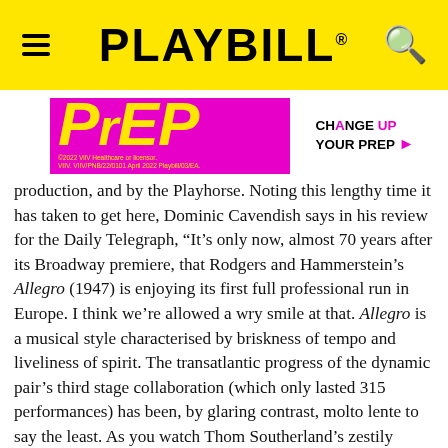PLAYBILL
[Figure (other): Advertisement banner for PrEP medication showing magenta background with yellow stylized 'PrEP' text on left and white panel with 'CHANGE UP YOUR PrEP' on right with arrow]
production, and by the Playhorse. Noting this lengthy time it has taken to get here, Dominic Cavendish says in his review for the Daily Telegraph, “It’s only now, almost 70 years after its Broadway premiere, that Rodgers and Hammerstein’s Allegro (1947) is enjoying its first full professional run in Europe. I think we’re allowed a wry smile at that. Allegro is a musical style characterised by briskness of tempo and liveliness of spirit. The transatlantic progress of the dynamic pair’s third stage collaboration (which only lasted 315 performances) has been, by glaring contrast, molto lente to say the least. As you watch Thom Southerland’s zestily committed revival at Southwark Playhouse, it’s not hard to fathom why the show failed to take off first time round, and why it has taken so